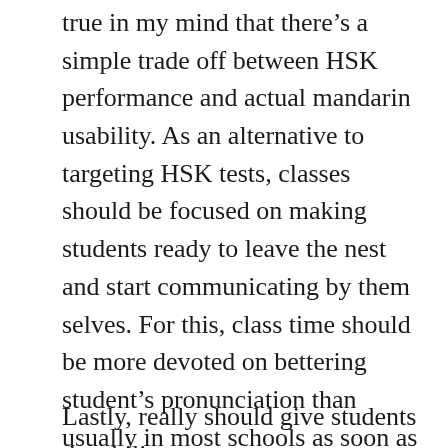true in my mind that there's a simple trade off between HSK performance and actual mandarin usability. As an alternative to targeting HSK tests, classes should be focused on making students ready to leave the nest and start communicating by them selves. For this, class time should be more devoted on bettering student's pronunciation than usually in most schools as soon as possible. The aim should be to get people speaking quickly. Atiny low class size, which inherently is a more suitable environment for individual pointers, holds the important to accomplishing the switch from result oriented to success oriented curricula.
Lastly, really should give students the ability to